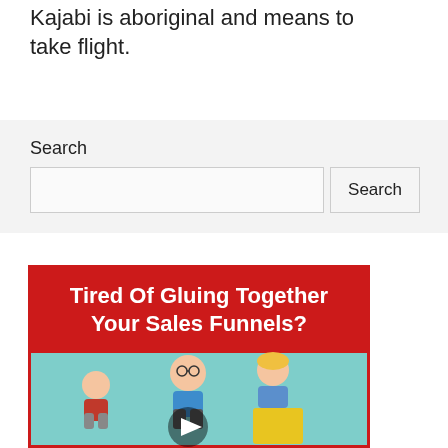Kajabi is aboriginal and means to take flight.
Search
[Figure (illustration): Promotional banner reading 'Tired Of Gluing Together Your Sales Funnels?' with cartoon characters and a video play button on a red and teal background.]